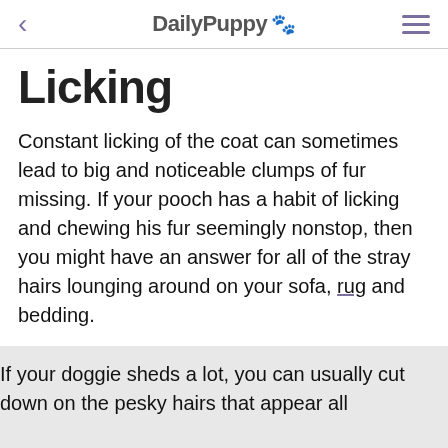DailPuppy 🐾
Licking
Constant licking of the coat can sometimes lead to big and noticeable clumps of fur missing. If your pooch has a habit of licking and chewing his fur seemingly nonstop, then you might have an answer for all of the stray hairs lounging around on your sofa, rug and bedding.
Caution
If your doggie sheds a lot, you can usually cut down on the pesky hairs that appear all